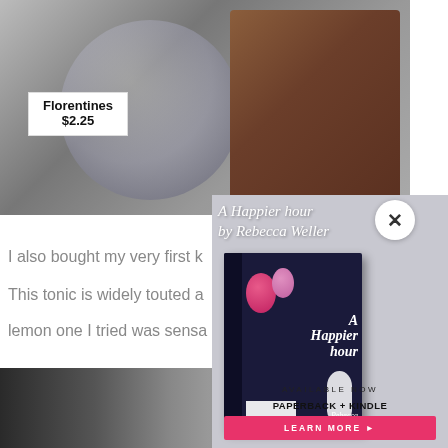[Figure (photo): Photo of bakery jars with a price tag reading 'Florentines $2.25' and a chocolate pastry visible on the right side]
I also bought my very first k
This tonic is widely touted a
lemon one I tried was sensa
[Figure (photo): Close-up photo of a glass jar or bottle]
[Figure (illustration): Advertisement for 'A Happier Hour by Rebecca Weller' book, showing book cover with balloons and a woman in a white dress, available in paperback and Kindle with a 'Learn More' button]